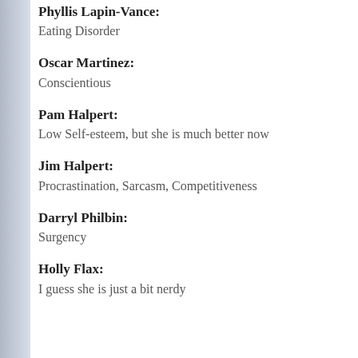Phyllis Lapin-Vance: Eating Disorder
Oscar Martinez: Conscientious
Pam Halpert: Low Self-esteem, but she is much better now
Jim Halpert: Procrastination, Sarcasm, Competitiveness
Darryl Philbin: Surgency
Holly Flax: I guess she is just a bit nerdy